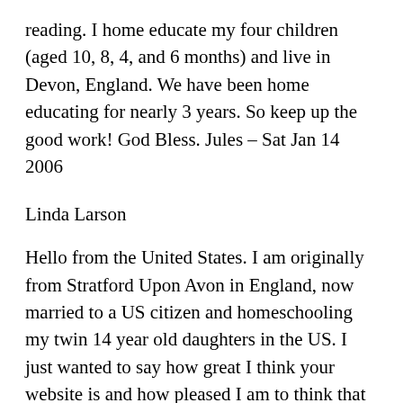reading. I home educate my four children (aged 10, 8, 4, and 6 months) and live in Devon, England. We have been home educating for nearly 3 years. So keep up the good work! God Bless. Jules – Sat Jan 14 2006
Linda Larson
Hello from the United States. I am originally from Stratford Upon Avon in England, now married to a US citizen and homeschooling my twin 14 year old daughters in the US. I just wanted to say how great I think your website is and how pleased I am to think that such a resource is available in the UK. While my husband and I lived in the UK we found that